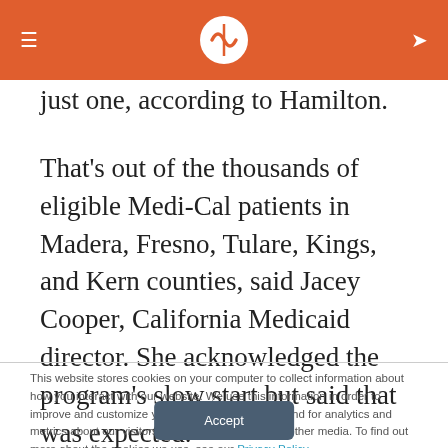[Navigation header with logo]
just one, according to Hamilton.
That's out of the thousands of eligible Medi-Cal patients in Madera, Fresno, Tulare, Kings, and Kern counties, said Jacey Cooper, California Medicaid director. She acknowledged the program's slow start but said that was expected.
This website stores cookies on your computer to collect information about how you interact with our website. We use this information in order to improve and customize your browsing experience and for analytics and metrics about our visitors both on this website and other media. To find out more about the cookies we use, see our Privacy Policy.